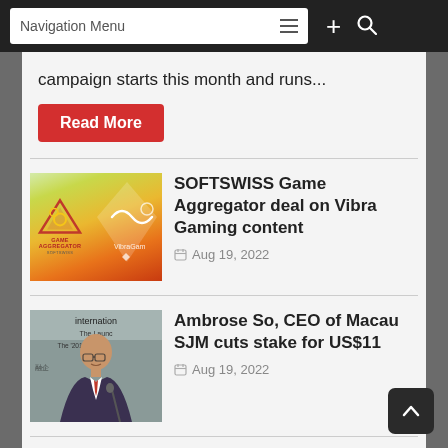Navigation Menu
campaign starts this month and runs...
Read More
SOFTSWISS Game Aggregator deal on Vibra Gaming content
Aug 19, 2022
Ambrose So, CEO of Macau SJM cuts stake for US$11
Aug 19, 2022